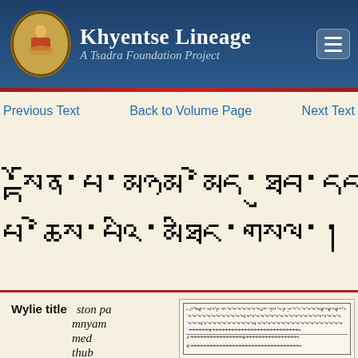Khyentse Lineage — A Tsadra Foundation Project
Previous Text   Back to Volume Page   Next Text
Tibetan script title (transliteration: ston pa mnyam med thub dbang rin po)
| Wylie title |  |
| --- | --- |
| ston pa mnyam med thub dbang rin po | (manuscript thumbnail) |
[Figure (screenshot): Manuscript thumbnail showing Tibetan text in small print within a bordered box]